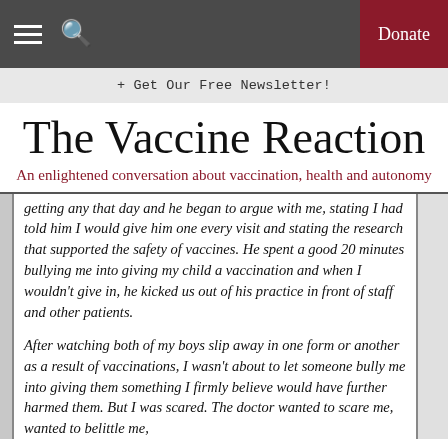The Vaccine Reaction — Navigation bar with hamburger, search, and Donate button
+ Get Our Free Newsletter!
The Vaccine Reaction
An enlightened conversation about vaccination, health and autonomy
getting any that day and he began to argue with me, stating I had told him I would give him one every visit and stating the research that supported the safety of vaccines. He spent a good 20 minutes bullying me into giving my child a vaccination and when I wouldn't give in, he kicked us out of his practice in front of staff and other patients.
After watching both of my boys slip away in one form or another as a result of vaccinations, I wasn't about to let someone bully me into giving them something I firmly believe would have further harmed them. But I was scared. The doctor wanted to scare me, wanted to belittle me,